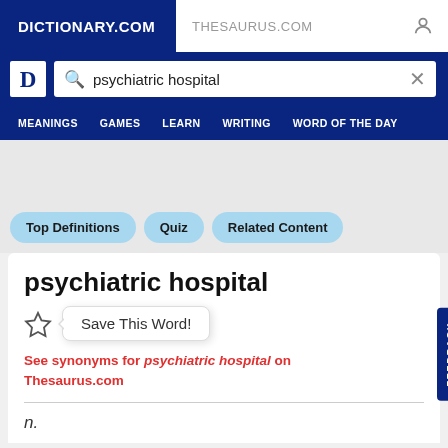DICTIONARY.COM | THESAURUS.COM
psychiatric hospital (search query)
MEANINGS  GAMES  LEARN  WRITING  WORD OF THE DAY
Top Definitions
Quiz
Related Content
psychiatric hospital
Save This Word!
See synonyms for psychiatric hospital on Thesaurus.com
n.